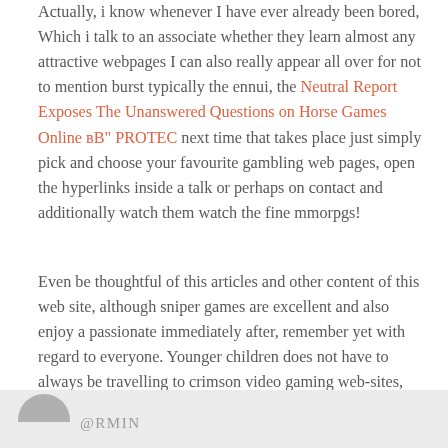Actually, i know whenever I have ever already been bored, Which i talk to an associate whether they learn almost any attractive webpages I can also really appear all over for not to mention burst typically the ennui, the Neutral Report Exposes The Unanswered Questions on Horse Games Online вB" PROTEC next time that takes place just simply pick and choose your favourite gambling web pages, open the hyperlinks inside a talk or perhaps on contact and additionally watch them watch the fine mmorpgs!
Even be thoughtful of this articles and other content of this web site, although sniper games are excellent and also enjoy a passionate immediately after, remember yet with regard to everyone. Younger children does not have to always be travelling to crimson video gaming web-sites, there are numerous boy or girl polite flash games to choose from, only just be extremely careful whenever back-links internet pages to prospects, discover who you really are emailing, together with understand the content material you will be leading them. Safe practices makes insurance plan!
[Figure (illustration): Partial circular gray avatar icon at bottom left]
@RMIN